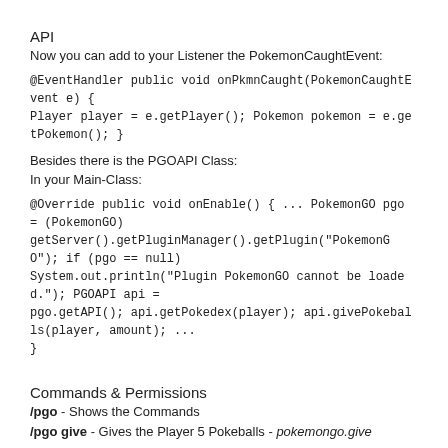API
Now you can add to your Listener the PokemonCaughtEvent:
@EventHandler public void onPkmnCaught(PokemonCaughtEvent e) {
Player player = e.getPlayer(); Pokemon pokemon = e.getPokemon(); }
Besides there is the PGOAPI Class:
In your Main-Class:
@Override public void onEnable() { ... PokemonGO pgo = (PokemonGO) getServer().getPluginManager().getPlugin("PokemonGO"); if (pgo == null) System.out.println("Plugin PokemonGO cannot be loaded."); PGOAPI api = pgo.getAPI(); api.getPokedex(player); api.givePokeballs(player, amount); ...
}
Commands & Permissions
/pgo - Shows the Commands
/pgo give - Gives the Player 5 Pokeballs - pokemongo.give
/pgo tracker - Gives the Player the Tracker - pokemongo.tracker
/pgo setup - starts the Setup-Menu - pokemongo.admin
/pgo dex - Shows your PokeDex
Setup
/pgo setup